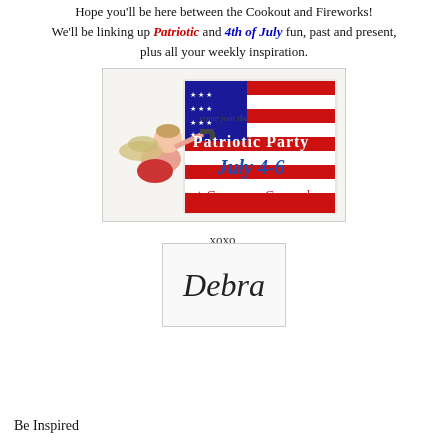Hope you'll be here between the Cookout and Fireworks! We'll be linking up Patriotic and 4th of July fun, past and present, plus all your weekly inspiration.
[Figure (illustration): Patriotic Party invitation image with cherub angel holding a gun, American flag, text reading 'come join the Patriotic Party July 4-6 at Common Ground' in red, white, and blue]
xoxo,
[Figure (illustration): Cursive signature of 'Debra' in elegant script on white background]
Be Inspired